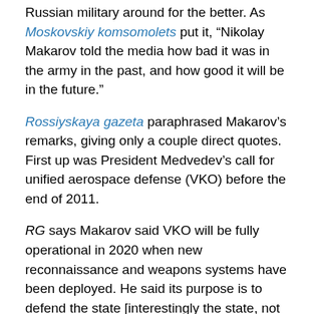Russian military around for the better.  As Moskovskiy komsomolets put it, “Nikolay Makarov told the media how bad it was in the army in the past, and how good it will be in the future.”
Rossiyskaya gazeta paraphrased Makarov’s remarks, giving only a couple direct quotes.  First up was President Medvedev’s call for unified aerospace defense (VKO) before the end of 2011.
RG says Makarov said VKO will be fully operational in 2020 when new reconnaissance and weapons systems have been deployed.  He said its purpose is to defend the state [interestingly the state, not the country] from ballistic and cruise missiles.  It needs to be an umbrella against any kind of threat, including low-altitude ones.